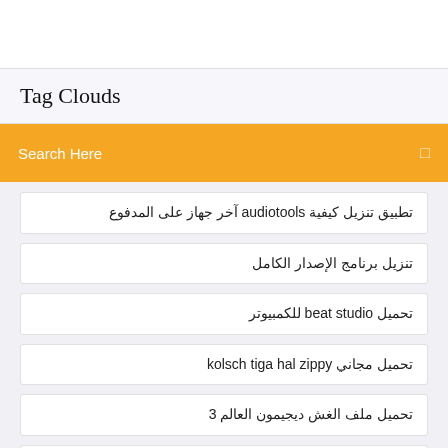Tag Clouds
Search Here
تطبيق تنزيل كيفية audiotools آخر جهاز على المدفوع
تنزيل برنامج الإصدار الكامل
تحميل beat studio للكمبيوتر
تحميل مجاني kolsch tiga hal zippy
تحميل ملف الغش ديجيمون العالم 3
تنزيل ملفات كال